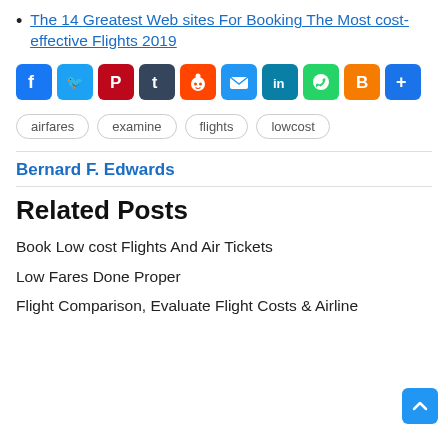The 14 Greatest Web sites For Booking The Most cost-effective Flights 2019
[Figure (infographic): Row of social sharing icons: Facebook (blue), Twitter (light blue), Pinterest (red), Tumblr (dark slate), Reddit (orange), Email (blue), LinkedIn (dark teal), WhatsApp (green), Blogger (orange), Share/More (blue)]
airfares  examine  flights  lowcost
Bernard F. Edwards
Related Posts
Book Low cost Flights And Air Tickets
Low Fares Done Proper
Flight Comparison, Evaluate Flight Costs & Airline